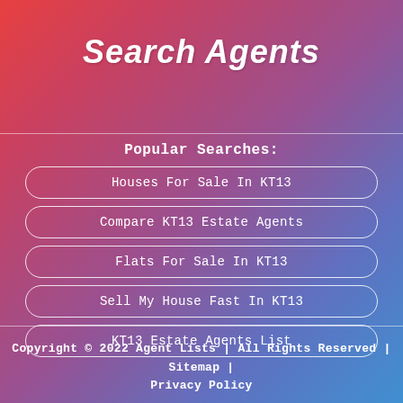Search Agents
Popular Searches:
Houses For Sale In KT13
Compare KT13 Estate Agents
Flats For Sale In KT13
Sell My House Fast In KT13
KT13 Estate Agents List
Copyright © 2022 Agent Lists | All Rights Reserved | Sitemap | Privacy Policy